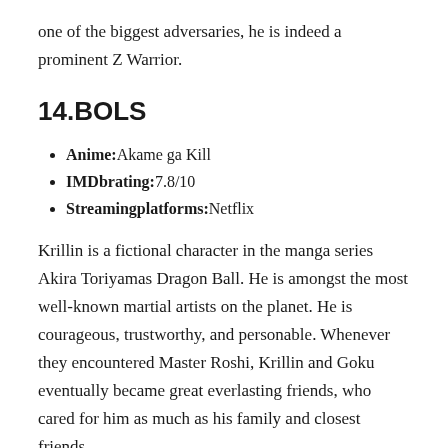one of the biggest adversaries, he is indeed a prominent Z Warrior.
14.BOLS
Anime: Akame ga Kill
IMDbrating: 7.8/10
Streamingplatforms: Netflix
Krillin is a fictional character in the manga series Akira Toriyamas Dragon Ball. He is amongst the most well-known martial artists on the planet. He is courageous, trustworthy, and personable. Whenever they encountered Master Roshi, Krillin and Goku eventually became great everlasting friends, who cared for him as much as his family and closest friends.
Bols was effective in his duties as the senior leader of the Jaegers. Although he was outclassed by the biggest opponents, he is indeed a prominent Z Warrior. He used to be a